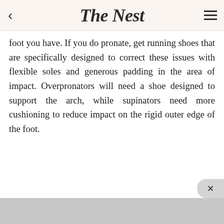The Nest
foot you have. If you do pronate, get running shoes that are specifically designed to correct these issues with flexible soles and generous padding in the area of impact. Overpronators will need a shoe designed to support the arch, while supinators need more cushioning to reduce impact on the rigid outer edge of the foot.